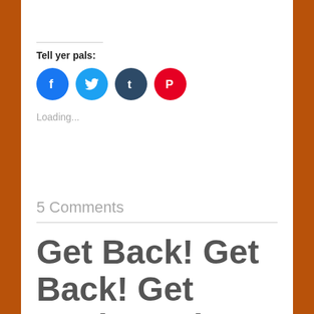Tell yer pals:
[Figure (infographic): Four social share buttons arranged in a row: Facebook (blue circle with 'f'), Twitter (light blue circle with bird), Tumblr (dark blue circle with 't'), Pinterest (red circle with 'P')]
Loading...
5 Comments
Get Back! Get Back! Get Back to where